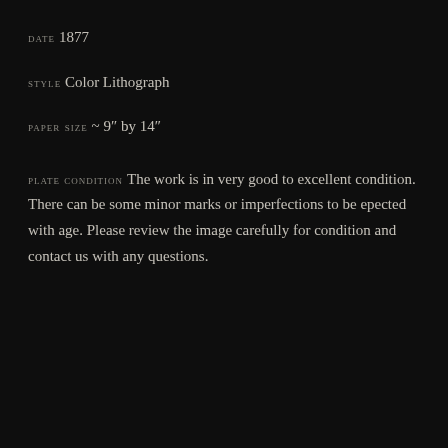DATE 1877
STYLE Color Lithograph
PAPER SIZE ~ 9" by 14"
PLATE CONDITION The work is in very good to excellent condition. There can be some minor marks or imperfections to be epected with age. Please review the image carefully for condition and contact us with any questions.